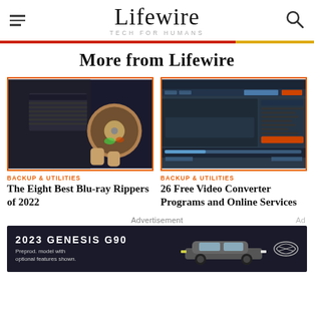Lifewire TECH FOR HUMANS
More from Lifewire
[Figure (photo): Hand inserting a Blu-ray disc into a drive next to a laptop keyboard]
BACKUP & UTILITIES
The Eight Best Blu-ray Rippers of 2022
[Figure (screenshot): Screenshot of a dark-themed video converter software interface]
BACKUP & UTILITIES
26 Free Video Converter Programs and Online Services
Advertisement
[Figure (photo): 2023 Genesis G90 car advertisement banner — '2023 GENESIS G90 Preprod. model with optional features shown.']